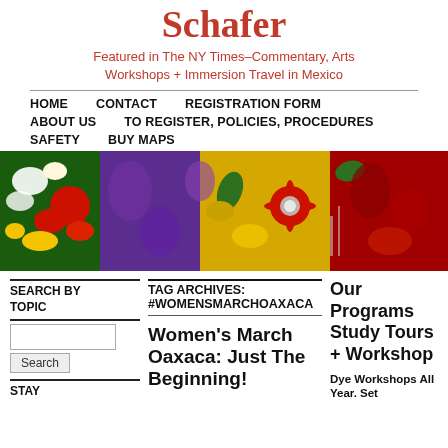Schafer
Featured in The NY Times–Commentary, Arts
Workshops + Immersion Travel in Mexico
HOME
CONTACT
REGISTRATION FORM
ABOUT US
TO REGISTER, POLICIES, PROCEDURES
SAFETY
BUY MAPS
[Figure (photo): Colorful paper flowers — red, purple, yellow, green — decorative photo banner]
SEARCH BY TOPIC
TAG ARCHIVES:
#WOMENSMARCHOAXACA
Our Programs Study Tours + Workshop
STAY
Women's March Oaxaca: Just The Beginning!
Dye Workshops All Year. Set